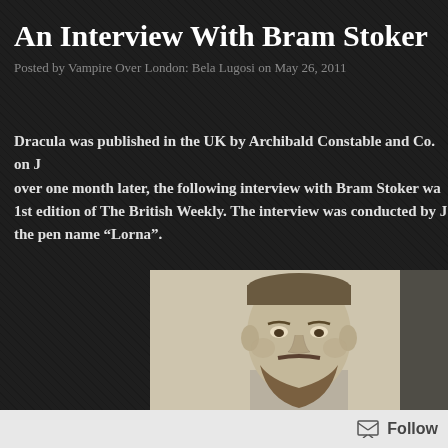An Interview With Bram Stoker
Posted by Vampire Over London: Bela Lugosi on May 26, 2011
Dracula was published in the UK by Archibald Constable and Co. on J[une], over one month later, the following interview with Bram Stoker wa[s published in the] 1st edition of The British Weekly. The interview was conducted by J[ournalist writing under] the pen name “Lorna”.
[Figure (photo): Black and white portrait photograph of Bram Stoker, a bearded man with short hair, facing slightly to the left.]
Follow